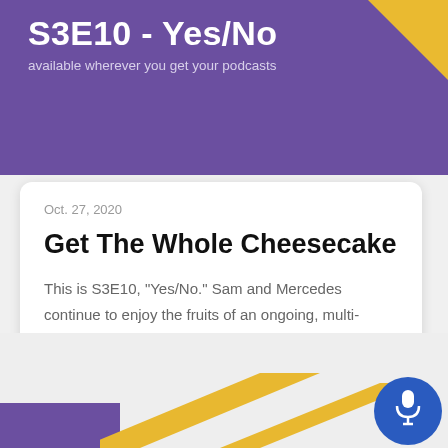S3E10 - Yes/No
available wherever you get your podcasts
Oct. 27, 2020
Get The Whole Cheesecake
This is S3E10, "Yes/No." Sam and Mercedes continue to enjoy the fruits of an ongoing, multi-episode storyline as their flirty sum...
→ Episode page
[Figure (other): Yellow diagonal stripe decoration at bottom of page with a blue microphone button in the lower right corner]